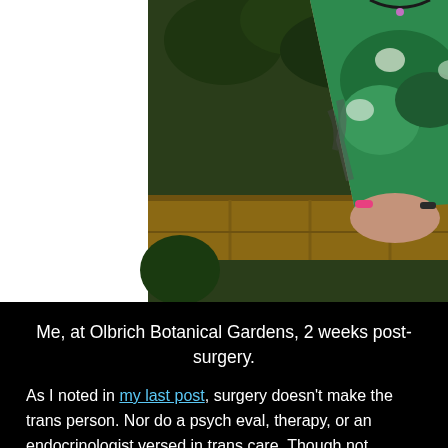[Figure (photo): A person with tattoos on their arms, wearing a green and blue floral dress, standing at what appears to be Olbrich Botanical Gardens. Their face is not visible. They have a pink bracelet and a dark bracelet on their wrists, holding their hands together in front of them. Green foliage and a wooden fence are visible in the background.]
Me, at Olbrich Botanical Gardens, 2 weeks post-surgery.
As I noted in my last post, surgery doesn't make the trans person. Nor do a psych eval, therapy, or an endocrinologist versed in trans care. Though not required, they helped me